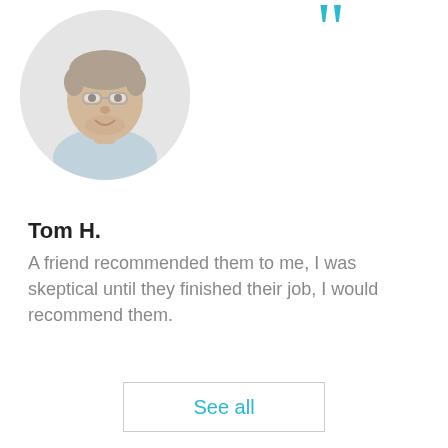[Figure (photo): Circular profile photo of a man (Tom H.) with short hair and glasses, light gray background.]
[Figure (illustration): Large cyan/turquoise opening double quotation mark decorative element in the upper right area.]
Tom H.
A friend recommended them to me, I was skeptical until they finished their job, I would recommend them.
See all